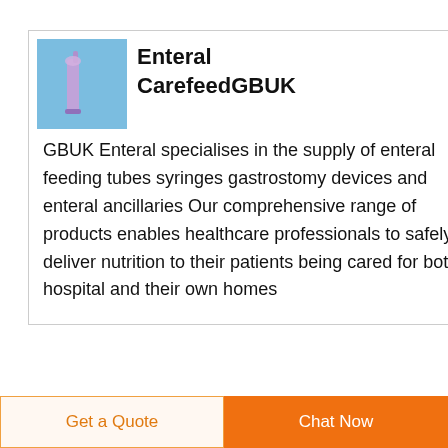[Figure (illustration): Blue background image showing a medical syringe/feeding tube]
Enteral CarefeedGBUK
GBUK Enteral specialises in the supply of enteral feeding tubes syringes gastrostomy devices and enteral ancillaries Our comprehensive range of products enables healthcare professionals to safely deliver nutrition to their patients being cared for both in hospital and their own homes
[Figure (illustration): Blue background image showing enteral feeding tube and medical devices]
BUY Enteral
Get a Quote
Chat Now